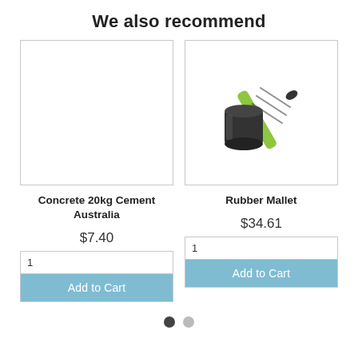We also recommend
[Figure (photo): Empty white product image placeholder for Concrete 20kg Cement Australia]
[Figure (photo): Photo of a rubber mallet with a black head and green/black handle]
Concrete 20kg Cement Australia
Rubber Mallet
$7.40
$34.61
1
Add to Cart
1
Add to Cart